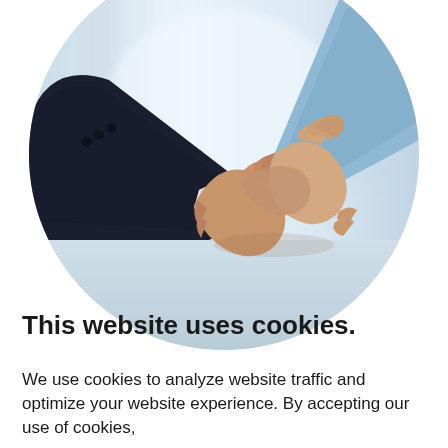[Figure (photo): A circular-cropped photograph of two people shaking hands. The person on the left wears a dark navy/black suit jacket with white shirt cuff visible. The person on the right wears a light blue dress shirt. The background is blurred office/corridor environment in light blue-white tones.]
This website uses cookies.
We use cookies to analyze website traffic and optimize your website experience. By accepting our use of cookies,